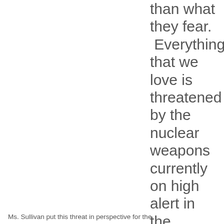than what they fear. Everything that we love is threatened by the nuclear weapons currently on high alert in the nuclear weapons possessing States.
Ms. Sullivan put this threat in perspective for the